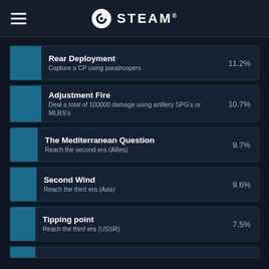STEAM
Rear Deployment — Capture a CP using paratroopers — 11.2%
Adjustment Fire — Deal a total of 100000 damage using artillery SPG's or MLRS's — 10.7%
The Mediterranean Question — Reach the second era (Allies) — 9.7%
Second Wind — Reach the third era (Axis) — 9.6%
Tipping point — Reach the third era (USSR) — 7.5%